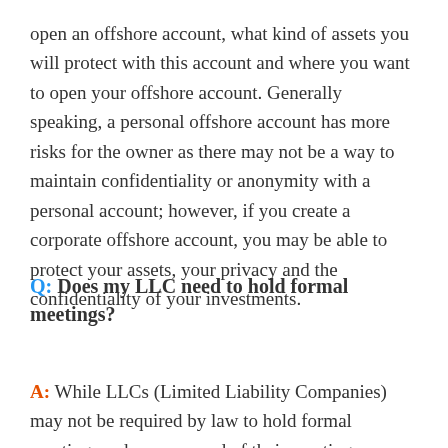open an offshore account, what kind of assets you will protect with this account and where you want to open your offshore account. Generally speaking, a personal offshore account has more risks for the owner as there may not be a way to maintain confidentiality or anonymity with a personal account; however, if you create a corporate offshore account, you may be able to protect your assets, your privacy and the confidentiality of your investments.
Q: Does my LLC need to hold formal meetings?
A: While LLCs (Limited Liability Companies) may not be required by law to hold formal meetings or keep a record of their meetings